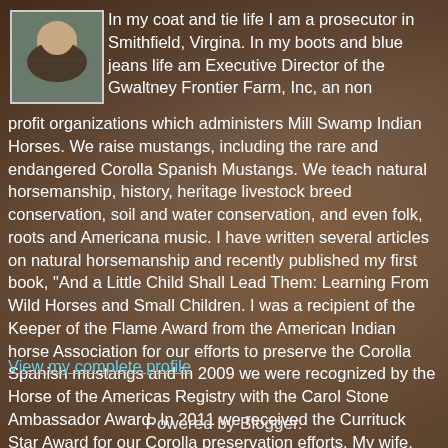[Figure (photo): Small profile photo of a person in an outdoor setting]
In my coat and tie life I am a prosecutor in Smithfield, Virgina. In my boots and blue jeans life am Executive Director of the Gwaltney Frontier Farm, Inc, an non profit organizations which administers Mill Swamp Indian Horses. We raise mustangs, including the rare and endangered Corolla Spanish Mustangs. We teach natural horsemanship, history, heritage livestock breed conservation, soil and water conservation, and even folk, roots and Americana music. I have written several articles on natural horsemanship and recently published my first book, "And a Little Child Shall Lead Them: Learning From Wild Horses and Small Children. I was a recipient of the Keeper of the Flame Award from the American Indian horse Association for our efforts to preserve the Corolla Spanish mustangs and in 2009 we were recognized by the Horse of the Americas Registry with the Carol Stone Ambassador Award. In 2011 we received the Currituck Star Award for our Corolla preservation efforts. My wife, Beth Edwards and I have three daughters and five grandchildren. See our web site, www.millswampindianhorses.com.
View my complete profile
Powered by Blogger.